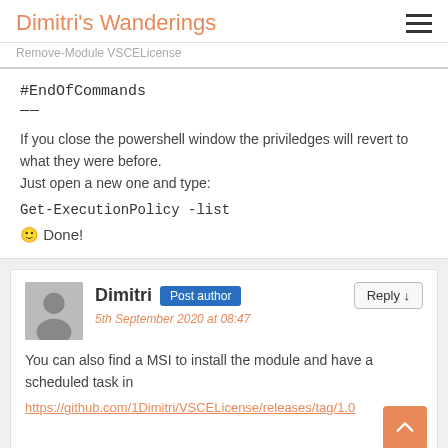Dimitri's Wanderings
Remove-Module VSCELicense
#EndOfCommands
—
If you close the powershell window the priviledges will revert to what they were before.
Just open a new one and type:
Get-ExecutionPolicy -list
🙂 Done!
Dimitri Post author
5th September 2020 at 08:47
You can also find a MSI to install the module and have a scheduled task in
https://github.com/1Dimitri/VSCELicense/releases/tag/1.0